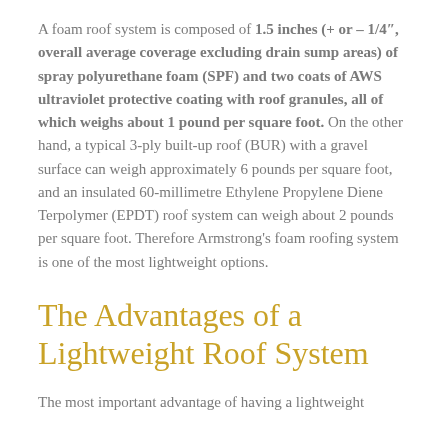A foam roof system is composed of 1.5 inches (+ or – 1/4", overall average coverage excluding drain sump areas) of spray polyurethane foam (SPF) and two coats of AWS ultraviolet protective coating with roof granules, all of which weighs about 1 pound per square foot. On the other hand, a typical 3-ply built-up roof (BUR) with a gravel surface can weigh approximately 6 pounds per square foot, and an insulated 60-millimetre Ethylene Propylene Diene Terpolymer (EPDT) roof system can weigh about 2 pounds per square foot. Therefore Armstrong's foam roofing system is one of the most lightweight options.
The Advantages of a Lightweight Roof System
The most important advantage of having a lightweight